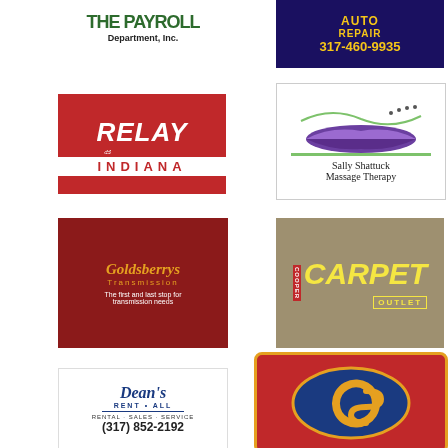[Figure (logo): The Payroll Department, Inc. logo in green text]
[Figure (logo): Auto Repair logo with phone number 317-460-9935 on dark blue background]
[Figure (logo): Relay Indiana racing logo on red background]
[Figure (logo): Sally Shattuck Massage Therapy logo with lips graphic]
[Figure (logo): Goldsberrys Transmission logo on dark red background - The first and last stop for transmission needs]
[Figure (logo): Cooper Carpet Outlet logo on tan/brown background]
[Figure (logo): Dean's Rent All - Rental Sales Service - (317) 852-2192]
[Figure (logo): CS logo on red background with gold border]